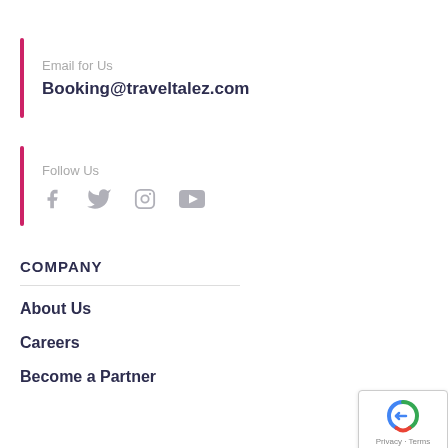Email for Us
Booking@traveltalez.com
Follow Us
[Figure (illustration): Social media icons: Facebook, Twitter, Instagram, YouTube]
COMPANY
About Us
Careers
Become a Partner
[Figure (logo): reCAPTCHA badge with Privacy and Terms text]